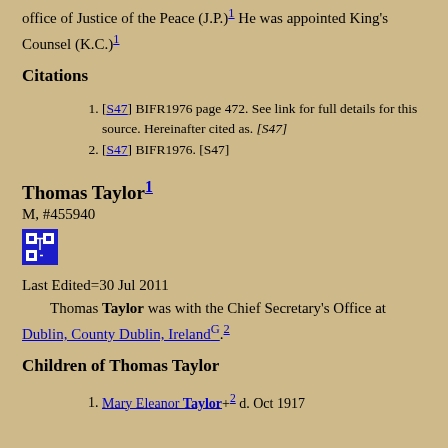office of Justice of the Peace (J.P.)1 He was appointed King's Counsel (K.C.)1
Citations
[S47] BIFR1976 page 472. See link for full details for this source. Hereinafter cited as. [S47]
[S47] BIFR1976. [S47]
Thomas Taylor1
M, #455940
Last Edited=30 Jul 2011
Thomas Taylor was with the Chief Secretary's Office at Dublin, County Dublin, IrelandG.2
Children of Thomas Taylor
Mary Eleanor Taylor+2 d. Oct 1917